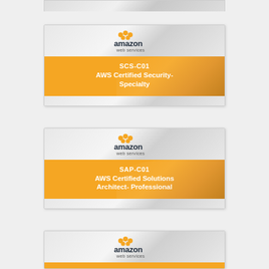[Figure (illustration): Partially visible AWS certification card at top of page]
[Figure (illustration): AWS Certification card for SCS-C01 AWS Certified Security-Specialty with orange banner and Amazon Web Services logo]
[Figure (illustration): AWS Certification card for SAP-C01 AWS Certified Solutions Architect- Professional with orange banner and Amazon Web Services logo]
[Figure (illustration): Partially visible AWS certification card at bottom of page showing Amazon Web Services logo]